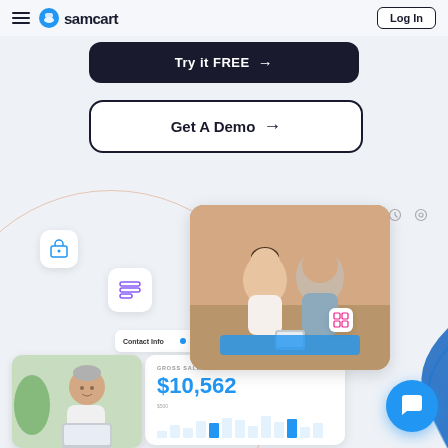[Figure (screenshot): SamCart website header with hamburger menu, logo, and Log In button]
[Figure (screenshot): Dark 'Try it FREE →' call-to-action button]
[Figure (screenshot): White outlined 'Get A Demo →' button]
[Figure (screenshot): SamCart platform dashboard mockup showing yoga couple photo, elderly man photo, gross sales card with $10,562, floating icons, chat button, and decorative elements]